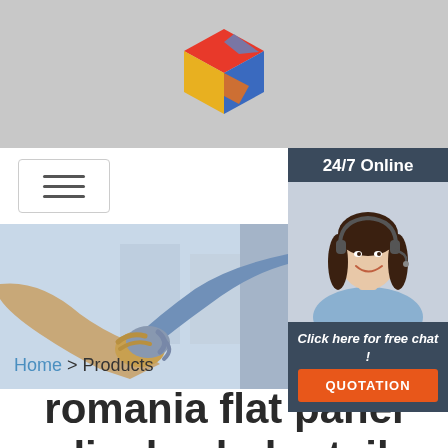[Figure (logo): Colorful 3D cube logo in red, yellow, blue, and orange tones]
[Figure (photo): Hamburger menu icon (three horizontal lines) inside a bordered box]
[Figure (infographic): 24/7 Online support widget with a smiling woman wearing a headset, 'Click here for free chat!' text, and an orange QUOTATION button]
[Figure (photo): Hero image showing two people shaking hands in a business setting]
Home > Products
romania flat panel display lcd retail store